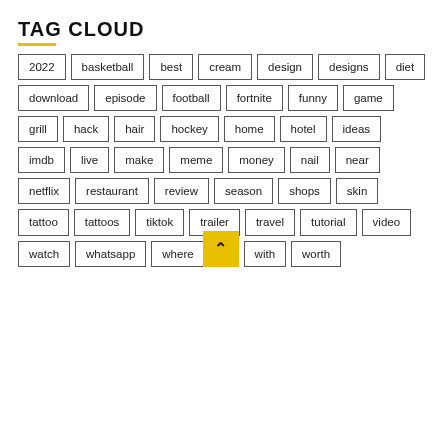TAG CLOUD
[Figure (infographic): Tag cloud with bordered rectangular tag pills: 2022, basketball, best, cream, design, designs, diet, download, episode, football, fortnite, funny, game, grill, hack, hair, hockey, home, hotel, ideas, imdb, live, make, meme, money, nail, near, netflix, restaurant, review, season, shops, skin, tattoo, tattoos, tiktok, trailer, travel, tutorial, video, watch, whatsapp, where, with, worth. A yellow back-to-top arrow button overlaps the bottom-right corner of the 'where' tag.]